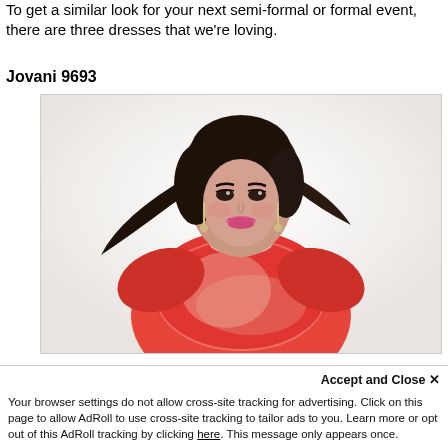To get a similar look for your next semi-formal or formal event, there are three dresses that we're loving.
Jovani 9693
[Figure (photo): Model wearing a red sequined long-sleeve dress, with flowing dark hair and dramatic makeup, posed against a white background.]
Accept and Close ✕
Your browser settings do not allow cross-site tracking for advertising. Click on this page to allow AdRoll to use cross-site tracking to tailor ads to you. Learn more or opt out of this AdRoll tracking by clicking here. This message only appears once.